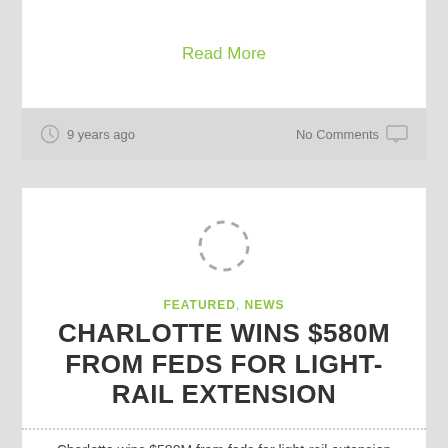Read More
9 years ago   No Comments
[Figure (other): Circular dashed placeholder icon indicating an image loading state]
FEATURED, NEWS
CHARLOTTE WINS $580M FROM FEDS FOR LIGHT-RAIL EXTENSION
Charlotte wins $580M from feds for light-rail extension Source: Charlotte Business Journal by Erik Spanberg, Senior Staff Writer Original Post Date:...
Read More